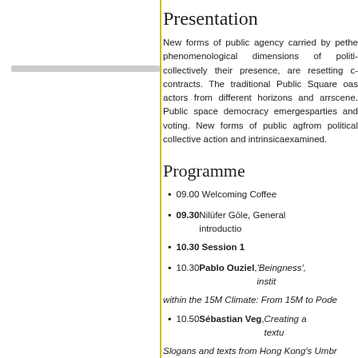[Figure (other): Gray horizontal bar in left panel]
Presentation
New forms of public agency carried by pe... the phenomenological dimensions of politi... collectively their presence, are resetting c... contracts. The traditional Public Square o... as actors from different horizons and arr... scene. Public space democracy emerges... parties and voting. New forms of public ag... from political collective action and intrinsica... examined.
Programme
09.00 Welcoming Coffee
09.30 Nilüfer Göle, General introductio...
10.30 Session 1
10.30 Pablo Ouziel, ‘Beingness’, instit...
within the 15M Climate: From 15M to Pode...
10.50 Sébastian Veg, Creating a textu...
Slogans and texts from Hong Kong’s Umbr...
11.10 Baran Uncu, Embedding the pr...
the rhizomatic spread of new subjectivities...
11.30 General discussion